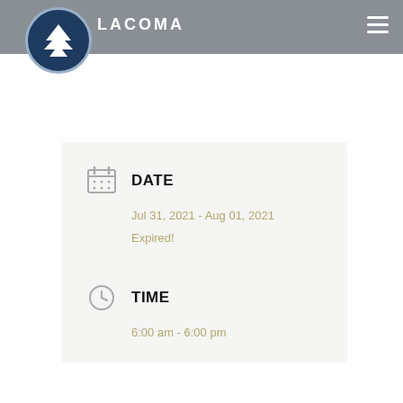LACOMA
[Figure (logo): Circular logo with white tree on dark navy background, silver border]
DATE
Jul 31, 2021 - Aug 01, 2021
Expired!
TIME
6:00 am - 6:00 pm